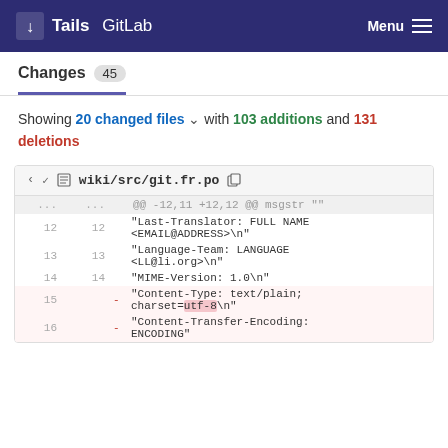Tails GitLab   Menu
Changes 45
Showing 20 changed files with 103 additions and 131 deletions
| old_ln | new_ln | op | code |
| --- | --- | --- | --- |
| ... | ... |  | @@ -12,11 +12,12 @@ msgstr "" |
| 12 | 12 |  | "Last-Translator: FULL NAME <EMAIL@ADDRESS>\n" |
| 13 | 13 |  | "Language-Team: LANGUAGE <LL@li.org>\n" |
| 14 | 14 |  | "MIME-Version: 1.0\n" |
| 15 |  | - | "Content-Type: text/plain; charset=utf-8\n" |
| 16 |  | - | "Content-Transfer-Encoding: ENCODING" |